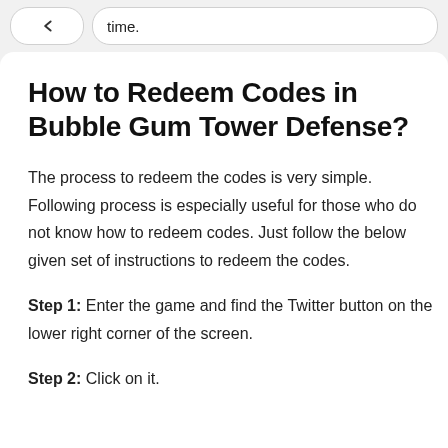time.
How to Redeem Codes in Bubble Gum Tower Defense?
The process to redeem the codes is very simple. Following process is especially useful for those who do not know how to redeem codes. Just follow the below given set of instructions to redeem the codes.
Step 1: Enter the game and find the Twitter button on the lower right corner of the screen.
Step 2: Click on it.